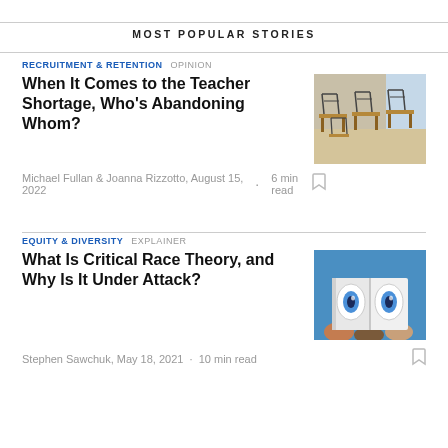MOST POPULAR STORIES
RECRUITMENT & RETENTION   OPINION
When It Comes to the Teacher Shortage, Who's Abandoning Whom?
[Figure (photo): Empty classroom with chairs flipped on desks]
Michael Fullan & Joanna Rizzotto, August 15, 2022  •  6 min read
EQUITY & DIVERSITY   EXPLAINER
What Is Critical Race Theory, and Why Is It Under Attack?
[Figure (photo): Children reading a book with illustrated eyes on the cover]
Stephen Sawchuk, May 18, 2021  •  10 min read